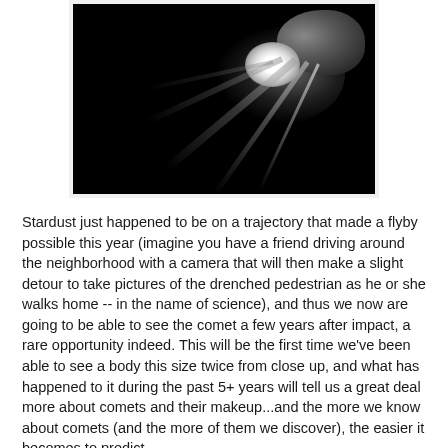[Figure (photo): Black and white photograph of a comet with a bright flash/impact point and light rays streaming outward against a dark background. The rocky irregular comet body is visible in the upper right.]
Stardust just happened to be on a trajectory that made a flyby possible this year (imagine you have a friend driving around the neighborhood with a camera that will then make a slight detour to take pictures of the drenched pedestrian as he or she walks home -- in the name of science), and thus we now are going to be able to see the comet a few years after impact, a rare opportunity indeed. This will be the first time we've been able to see a body this size twice from close up, and what has happened to it during the past 5+ years will tell us a great deal more about comets and their makeup...and the more we know about comets (and the more of them we discover), the easier it becomes to predict